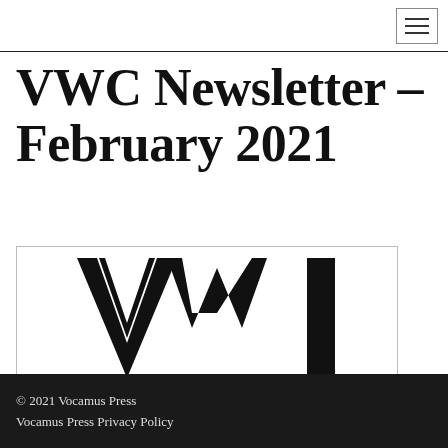VWC Newsletter – February 2021
[Figure (logo): Partial VWC logo mark showing stylized angular letters in black on white background, cropped at bottom]
© 2021 Vocamus Press
Vocamus Press Privacy Policy